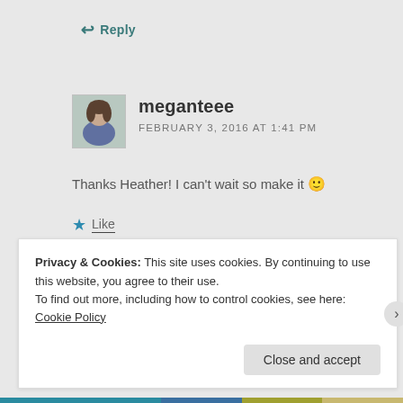↩ Reply
meganteee
FEBRUARY 3, 2016 AT 1:41 PM
Thanks Heather! I can't wait so make it 🙂
★ Like
↩ Reply
Privacy & Cookies: This site uses cookies. By continuing to use this website, you agree to their use.
To find out more, including how to control cookies, see here: Cookie Policy
Close and accept